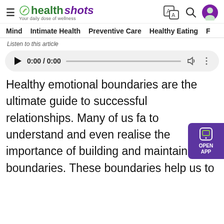healthshots — Your daily dose of wellness
Mind   Intimate Health   Preventive Care   Healthy Eating   F
Listen to this article
[Figure (other): Audio player widget showing 0:00 / 0:00 with play button, progress bar, volume and more options icons]
Healthy emotional boundaries are the ultimate guide to successful relationships. Many of us fa to understand and even realise the importance of building and maintaining boundaries. These boundaries help us to understand what's okay, and what's not for anyone in a relationship. The simplest way to think of an emotional boundary is a clear line of what is and is not one's to deal